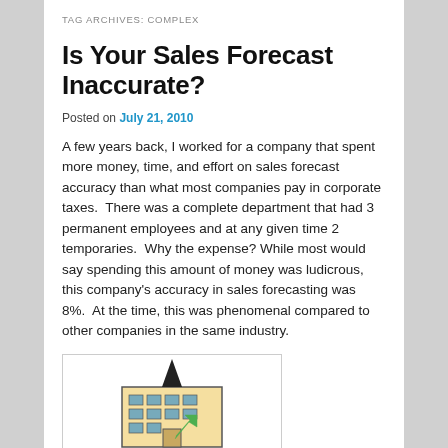TAG ARCHIVES: COMPLEX
Is Your Sales Forecast Inaccurate?
Posted on July 21, 2010
A few years back, I worked for a company that spent more money, time, and effort on sales forecast accuracy than what most companies pay in corporate taxes.  There was a complete department that had 3 permanent employees and at any given time 2 temporaries.  Why the expense?  While most would say spending this amount of money was ludicrous, this company's accuracy in sales forecasting was 8%.  At the time, this was phenomenal compared to other companies in the same industry.
[Figure (illustration): Illustration of a building/office with a chart and upward arrow, representing sales forecasting]